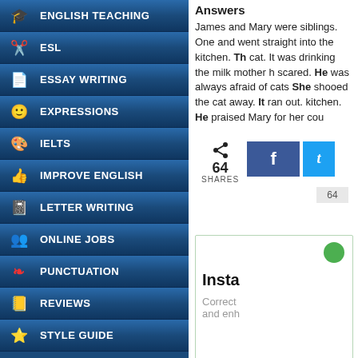ENGLISH TEACHING
ESL
ESSAY WRITING
EXPRESSIONS
IELTS
IMPROVE ENGLISH
LETTER WRITING
ONLINE JOBS
PUNCTUATION
REVIEWS
STYLE GUIDE
Answers
James and Mary were siblings. One and went straight into the kitchen. Th cat. It was drinking the milk mother h scared. He was always afraid of cats She shooed the cat away. It ran out. kitchen. He praised Mary for her cou
[Figure (screenshot): Share buttons showing 64 shares, Facebook button, Twitter button, and a count of 64]
[Figure (screenshot): Insta box with green circle, title 'Insta', subtitle 'Correct and enh']